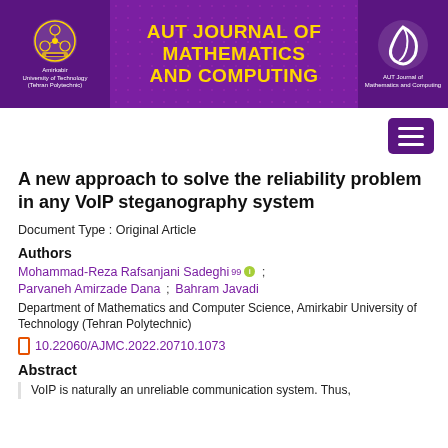[Figure (logo): AUT Journal of Mathematics and Computing header banner with university logo, journal title in yellow on purple background, and AUT journal logo on right]
A new approach to solve the reliability problem in any VoIP steganography system
Document Type : Original Article
Authors
Mohammad-Reza Rafsanjani Sadeghi ; Parvaneh Amirzade Dana ; Bahram Javadi
Department of Mathematics and Computer Science, Amirkabir University of Technology (Tehran Polytechnic)
10.22060/AJMC.2022.20710.1073
Abstract
VoIP is naturally an unreliable communication system. Thus,